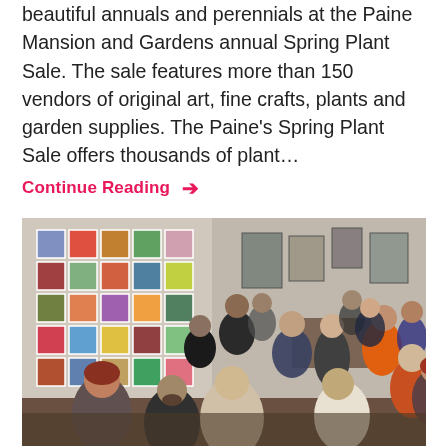beautiful annuals and perennials at the Paine Mansion and Gardens annual Spring Plant Sale. The sale features more than 150 vendors of original art, fine crafts, plants and garden supplies. The Paine's Spring Plant Sale offers thousands of plant...
Continue Reading →
[Figure (photo): Indoor scene showing a gathering of people at what appears to be an art show or community event. On the left wall hangs a grid of colorful nature/plant photographs arranged in rows and columns. Multiple people are standing and socializing throughout the room.]